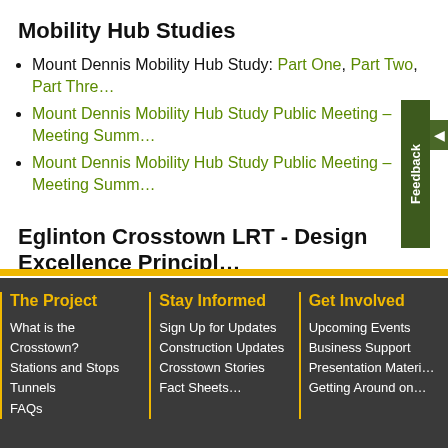Mobility Hub Studies
Mount Dennis Mobility Hub Study: Part One, Part Two, Part Three
Mount Dennis Mobility Hub Study Public Meeting – Meeting Summ…
Mount Dennis Mobility Hub Study Public Meeting – Meeting Summ…
Eglinton Crosstown LRT - Design Excellence Principl…
Presentation to City of Toronto's Design Review Panel (October…
The Project | Stay Informed | Get Involved
What is the Crosstown? | Sign Up for Updates | Upcoming Events
Stations and Stops | Construction Updates | Business Support
Tunnels | Crosstown Stories | Presentation Materi…
FAQs | Fact Sheets | Getting Around on…